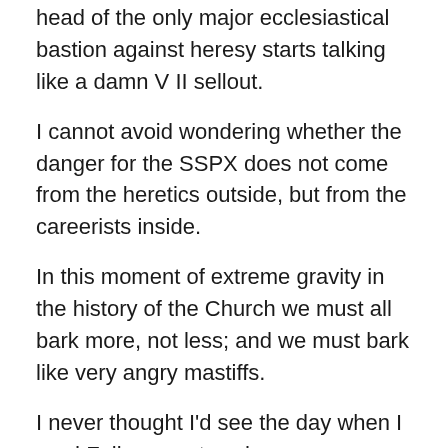head of the only major ecclesiastical bastion against heresy starts talking like a damn V II sellout.
I cannot avoid wondering whether the danger for the SSPX does not come from the heretics outside, but from the careerists inside.
In this moment of extreme gravity in the history of the Church we must all bark more, not less; and we must bark like very angry mastiffs.
I never thought I'd see the day when I read Fellay spout such nonsense. This is very, very alarming and it behooves every good Catholic to denounce appeasement wherever it comes from.
Good Lord, if even the SSPX is devoured from the cancer of careerists, of careerists, of appeasement for Fellay...